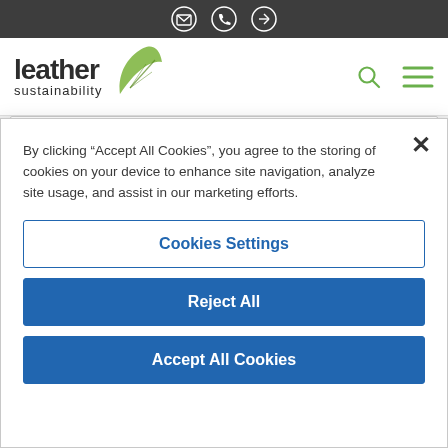[Figure (logo): Leather Sustainability website header with dark top bar containing email, phone, and edit icons, followed by the Leather Sustainability logo with a green leaf icon, and search/menu icons on the right]
By clicking “Accept All Cookies”, you agree to the storing of cookies on your device to enhance site navigation, analyze site usage, and assist in our marketing efforts.
Cookies Settings
Reject All
Accept All Cookies